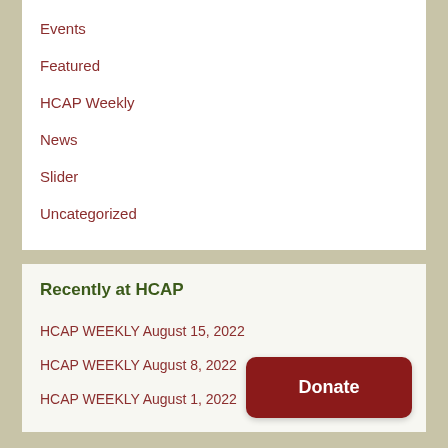Events
Featured
HCAP Weekly
News
Slider
Uncategorized
Recently at HCAP
HCAP WEEKLY August 15, 2022
HCAP WEEKLY August 8, 2022
HCAP WEEKLY August 1, 2022